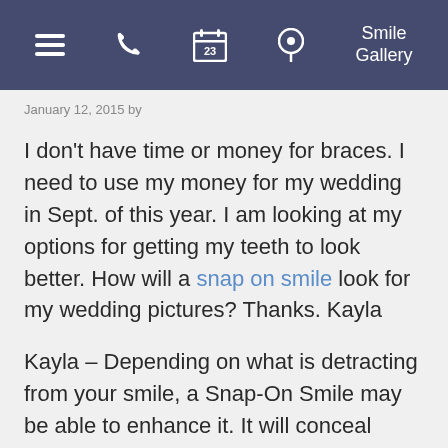Smile Gallery
January 12, 2015 by
I don't have time or money for braces. I need to use my money for my wedding in Sept. of this year. I am looking at my options for getting my teeth to look better. How will a snap on smile look for my wedding pictures? Thanks. Kayla
Kayla – Depending on what is detracting from your smile, a Snap-On Smile may be able to enhance it. It will conceal teeth that are missing, misshaped, discolored, or have